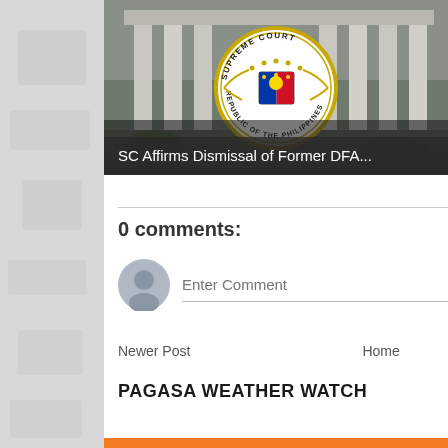[Figure (photo): Supreme Court of the Philippines building with circular seal overlay showing 'SUPREME COURT REPUBLIC OF THE PHILIPPINES']
SC Affirms Dismissal of Former DFA...
0 comments:
Enter Comment
Newer Post   Home   Older Post
PAGASA WEATHER WATCH